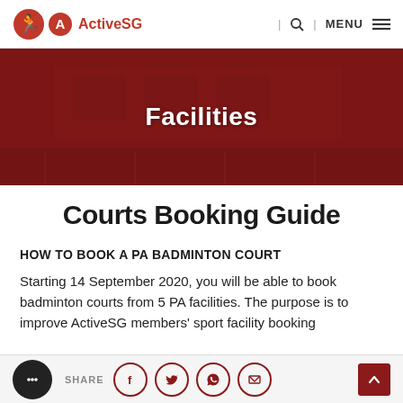[Figure (logo): ActiveSG logo with navigation bar including search and menu icons]
[Figure (photo): Hero banner showing a sports facility (badminton/tennis courts) with dark red overlay and the text Facilities centered]
Courts Booking Guide
HOW TO BOOK A PA BADMINTON COURT
Starting 14 September 2020, you will be able to book badminton courts from 5 PA facilities. The purpose is to improve ActiveSG members' sport facility booking
[Figure (other): Bottom share bar with chat bubble, SHARE label, and social icons for Facebook, Twitter, WhatsApp, email, plus back-to-top button]